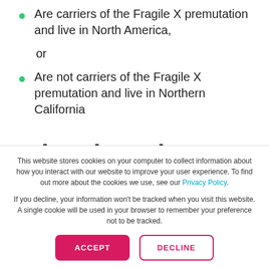Are carriers of the Fragile X premutation and live in North America,
or
Are not carriers of the Fragile X premutation and live in Northern California
What does the study involve?
This website stores cookies on your computer to collect information about how you interact with our website to improve your user experience. To find out more about the cookies we use, see our Privacy Policy.
If you decline, your information won't be tracked when you visit this website. A single cookie will be used in your browser to remember your preference not to be tracked.